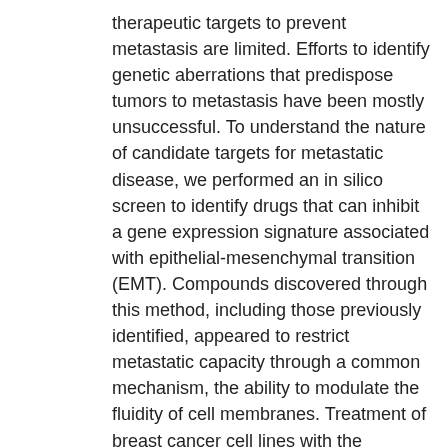therapeutic targets to prevent metastasis are limited. Efforts to identify genetic aberrations that predispose tumors to metastasis have been mostly unsuccessful. To understand the nature of candidate targets for metastatic disease, we performed an in silico screen to identify drugs that can inhibit a gene expression signature associated with epithelial-mesenchymal transition (EMT). Compounds discovered through this method, including those previously identified, appeared to restrict metastatic capacity through a common mechanism, the ability to modulate the fluidity of cell membranes. Treatment of breast cancer cell lines with the putative antimetastasis agents reduced membrane fluidity, resulting in decreased cell motility, stem cell-like properties, and EMT in vitro, and the drugs also inhibited spontaneous metastasis in vivo When fluidity was unchanged, the antimetastasis compounds could no longer restrict metastasis, indicating a causal association between fluidity and metastasis. We further demonstrate that fluidity can be regulated by cellular cholesterol flux, as the cholesterol efflux channel ABCA1 potentiated metastatic behaviors in vitro and in vivo The requirement for fluidity can further be supported by the finding in breast